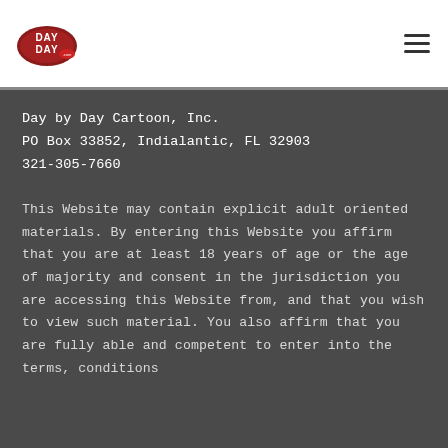[Figure (logo): Day by Day cartoon logo — oval shape in dark red with 'DAY DAY' text]
Day by Day Cartoon, Inc.
PO Box 33852, Indialantic, FL 32903
321-305-7660
This Website may contain explicit adult oriented materials. By entering this Website you affirm that you are at least 18 years of age or the age of majority and consent in the jurisdiction you are accessing this Website from, and that you wish to view such material. You also affirm that you are fully able and competent to enter into the terms, conditions